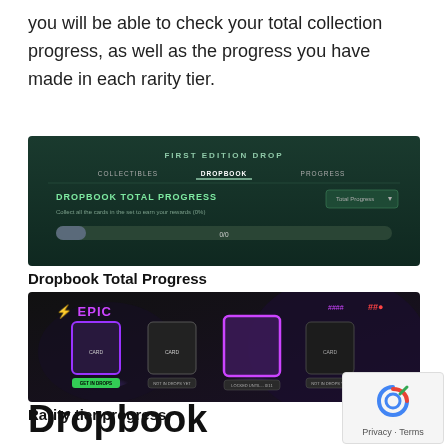you will be able to check your total collection progress, as well as the progress you have made in each rarity tier.
[Figure (screenshot): Screenshot of a web interface showing 'FIRST EDITION DROP' header with navigation tabs (COLLECTIBLES, DROPBOOK, PROGRESS) and a section titled 'DROPBOOK TOTAL PROGRESS' with a subtitle and a progress bar, on a dark green/teal background.]
Dropbook Total Progress
[Figure (screenshot): Screenshot of a dark interface showing 'EPIC' rarity tier with a lightning bolt icon, displaying four 3D cube collectibles with purple/pink glowing highlights, and progress info in upper right corner.]
Rarity tier progress
Dropbook